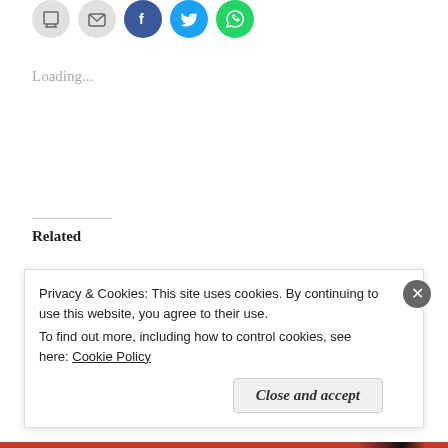[Figure (illustration): Row of social sharing icon circles: print (gray), email (gray), Facebook (blue), Twitter (light blue), WhatsApp (green)]
Loading...
Related
An invitation to anew
June 27, 2013
In "Seeking God"
How RK Puram reaffirmed my faith in humanity
October 19, 2011
In "Finding God"
The God in grooming
Privacy & Cookies: This site uses cookies. By continuing to use this website, you agree to their use.
To find out more, including how to control cookies, see here: Cookie Policy
Close and accept